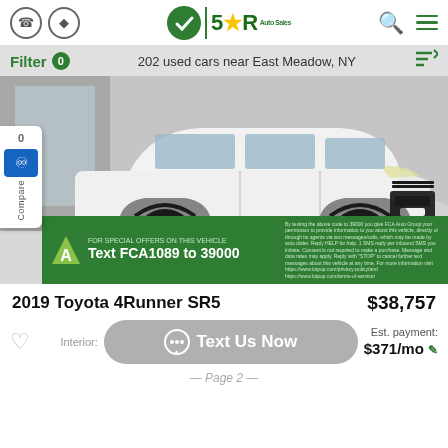5 STAR Auto Sales — Header navigation bar
Filter 0   202 used cars near East Meadow, NY
[Figure (photo): White 2019 Toyota 4Runner SR5 SUV parked in a showroom, front 3/4 view. Black wheels, black lower trim and grille accents. Green promotional banner at bottom: 'Text FCA1089 to 39000'.]
2019 Toyota 4Runner SR5   $38,757
Text Us Now   Est. payment: $371/mo
— Page 2 —